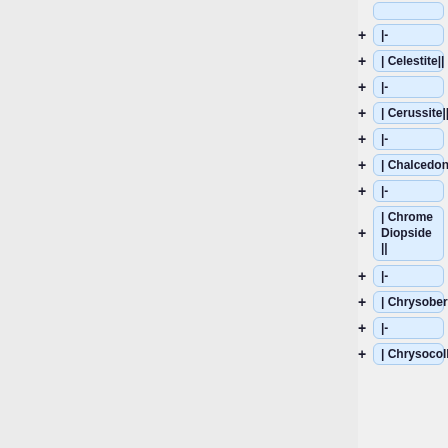|-
| Celestite||
|-
| Cerussite||
|-
| Chalcedony||
|-
| Chrome Diopside ||
|-
| Chrysoberyl||
|-
| Chrysocolla||